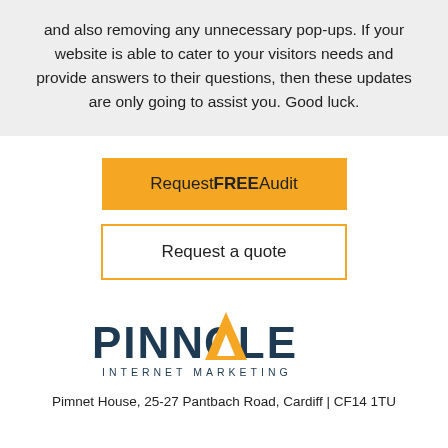and also removing any unnecessary pop-ups. If your website is able to cater to your visitors needs and provide answers to their questions, then these updates are only going to assist you. Good luck.
[Figure (other): Orange button labeled 'Request FREE Audit']
[Figure (other): White button with orange border labeled 'Request a quote']
[Figure (logo): Pinnacle Internet Marketing logo — dark navy text 'PINNACLE' with orange triangle as the A, below that 'INTERNET MARKETING' in spaced caps]
Pimnet House, 25-27 Pantbach Road, Cardiff | CF14 1TU